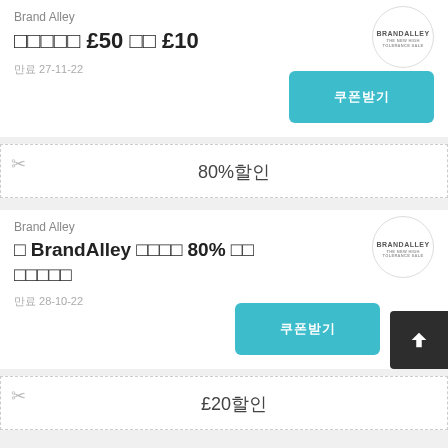Brand Alley
□□□□□ £50 □□ £10
만료 27-11-22
쿠폰받기
[Figure (logo): BrandAlley circular logo]
80%할인
Brand Alley
□ BrandAlley □□□□ 80% □□ □□□□□
만료 28-10-22
쿠폰받기
[Figure (logo): BrandAlley circular logo second]
£20할인